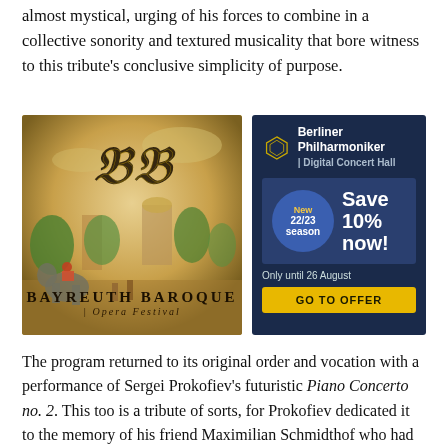almost mystical, urging of his forces to combine in a collective sonority and textured musicality that bore witness to this tribute's conclusive simplicity of purpose.
[Figure (illustration): Bayreuth Baroque Opera Festival advertisement with ornate golden background showing Indian/Mughal landscape with elephants and architecture, decorative monogram 'BB' at top.]
[Figure (illustration): Berliner Philharmoniker Digital Concert Hall advertisement on dark navy background. Features pentagon logo, 'Save 10% now!' offer, circular badge saying 'New 22/23 season', 'Only until 26 August', and 'GO TO OFFER' yellow button.]
The program returned to its original order and vocation with a performance of Sergei Prokofiev's futuristic Piano Concerto no. 2. This too is a tribute of sorts, for Prokofiev dedicated it to the memory of his friend Maximilian Schmidthof who had recently commited suicide. Nézet-Séguin's invitation to the young Italian pianist, Beatrice Rana to return to Montréal where she had won first prize in the 2011 Montreal International Musical Competition was inspired. Rana, who won second prize in the 2013 Van Cliburn Competition